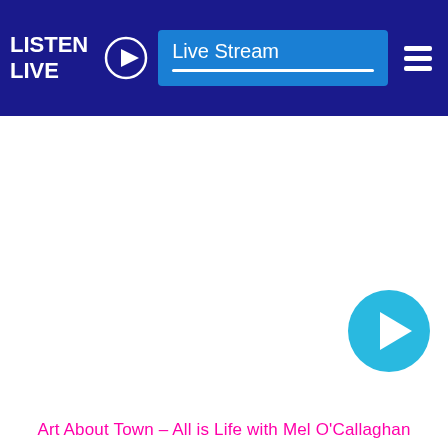LISTEN LIVE  Live Stream
[Figure (screenshot): White content area with a cyan circular play button in the lower right]
Art About Town – All is Life with Mel O'Callaghan